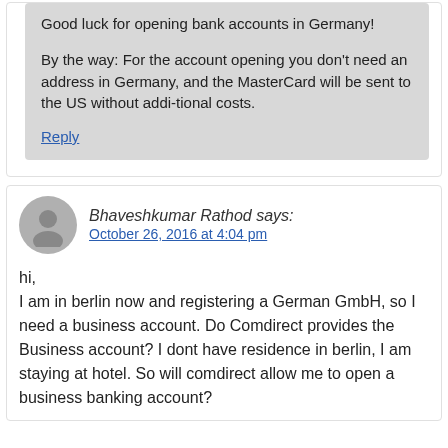Good luck for opening bank accounts in Germany!
By the way: For the account opening you don't need an address in Germany, and the MasterCard will be sent to the US without addi-tional costs.
Reply
Bhaveshkumar Rathod says:
October 26, 2016 at 4:04 pm
hi,
I am in berlin now and registering a German GmbH, so I need a business account. Do Comdirect provides the Business account? I dont have residence in berlin, I am staying at hotel. So will comdirect allow me to open a business banking account?